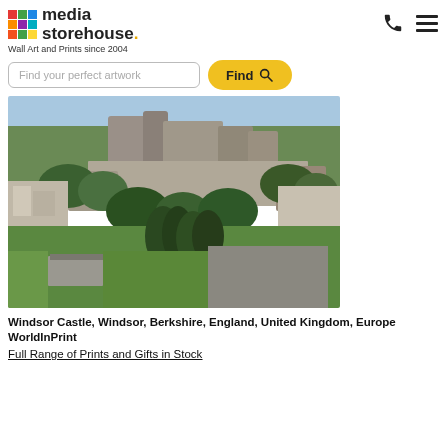media storehouse. Wall Art and Prints since 2004
Find your perfect artwork
[Figure (photo): Aerial view of Windsor Castle, Windsor, Berkshire, England, United Kingdom, Europe. Shows the castle walls and towers surrounded by trees, with town buildings nearby and green fields in the foreground.]
Windsor Castle, Windsor, Berkshire, England, United Kingdom, Europe
WorldInPrint
Full Range of Prints and Gifts in Stock